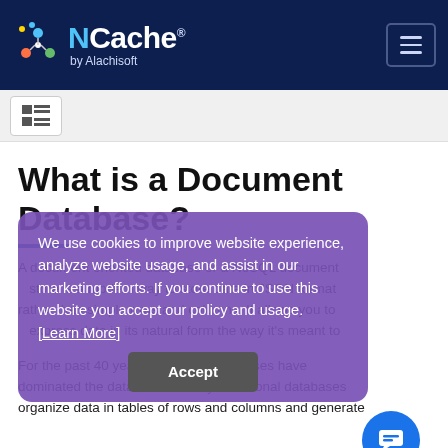[Figure (logo): NCache by Alachisoft logo with navigation header on dark navy background]
[Figure (screenshot): Toolbar strip with table/list view icon button]
What is a Document Database?
A document oriented database or a NoSQL document store is a modern way to store data in JSON format rather than simple rows and columns. It allows you to express data in its natural form the way it's meant to
For the past 40 years, relational databases have dominated the database industry. Relational databases organize data in tables of rows and columns and generate
We use cookies to improve website experience, analyze website usage, and assist in our marketing efforts. If you continue to use this website you accept our policy and usage. [Learn More]